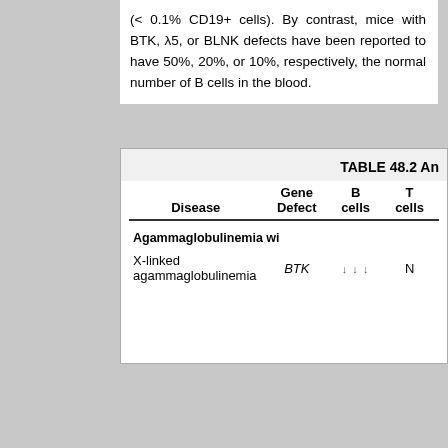(< 0.1% CD19+ cells). By contrast, mice with BTK, λ5, or BLNK defects have been reported to have 50%, 20%, or 10%, respectively, the normal number of B cells in the blood.
| Disease | Gene Defect | B cells | T cells |
| --- | --- | --- | --- |
| Agammaglobulinemia wi... |  |  |  |
| X-linked agammaglobulinemia | BTK | ↓↓↓ | N |